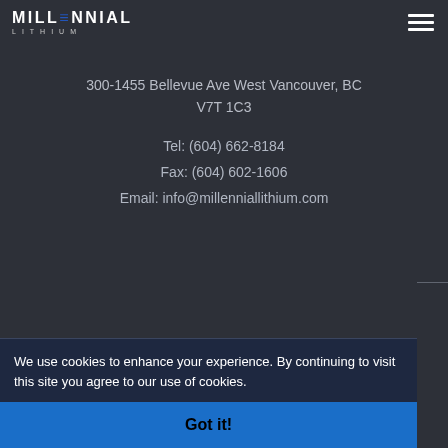[Figure (logo): Millennial Lithium logo — white bold text 'MILLENNIAL' with blue stylized 3 character, subtitle 'LITHIUM' in small spaced caps]
300-1455 Bellevue Ave West Vancouver, BC V7T 1C3
Tel: (604) 662-8184
Fax: (604) 602-1606
Email: info@millenniallithium.com
We use cookies to enhance your experience. By continuing to visit this site you agree to our use of cookies.
Got it!